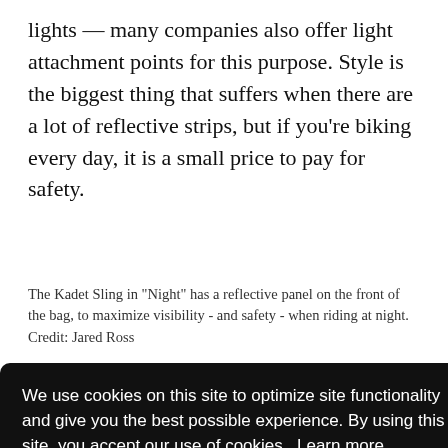lights — many companies also offer light attachment points for this purpose. Style is the biggest thing that suffers when there are a lot of reflective strips, but if you're biking every day, it is a small price to pay for safety.
The Kadet Sling in "Night" has a reflective panel on the front of the bag, to maximize visibility - and safety - when riding at night.
Credit: Jared Ross
...using ...gn ...itive. ...ble as ...Keep ...ding on your profession, it may not be the best choice. Bag
[Figure (screenshot): Cookie consent banner overlay with dark background. Text reads: 'We use cookies on this site to optimize site functionality and give you the best possible experience. By using this site, you accept our use of cookies. Learn more' with a 'Got it!' button.]